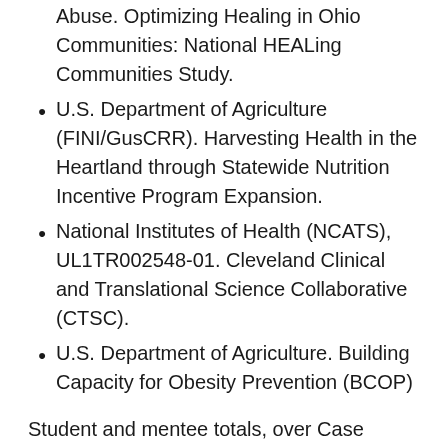Abuse. Optimizing Healing in Ohio Communities: National HEALing Communities Study.
U.S. Department of Agriculture (FINI/GusCRR). Harvesting Health in the Heartland through Statewide Nutrition Incentive Program Expansion.
National Institutes of Health (NCATS), UL1TR002548-01. Cleveland Clinical and Translational Science Collaborative (CTSC).
U.S. Department of Agriculture. Building Capacity for Obesity Prevention (BCOP)
Student and mentee totals, over Case Western Reserve University career/full academic career: